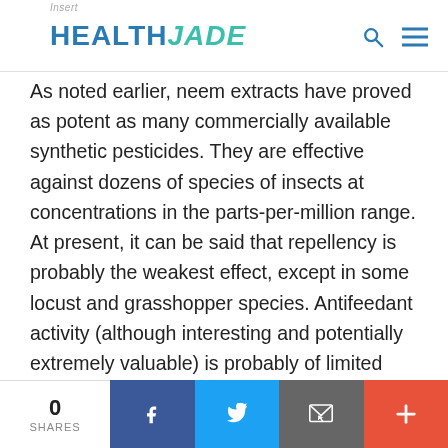HEALTH JADE
As noted earlier, neem extracts have proved as potent as many commercially available synthetic pesticides. They are effective against dozens of species of insects at concentrations in the parts-per-million range. At present, it can be said that repellency is probably the weakest effect, except in some locust and grasshopper species. Antifeedant activity (although interesting and potentially extremely valuable) is probably of limited significance; its effects are short-lived, and highly variable. Blocking the larvae from molting is likely to be neem's most important quality. Eventually
0 SHARES | Facebook | Twitter | Email | +